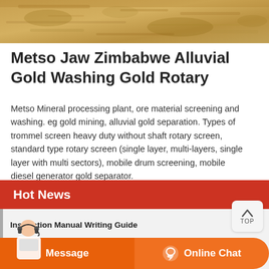[Figure (photo): Aerial or close-up photograph of sandy/rocky ground with golden-brown texture, used as a banner image at the top of a web page about gold mining equipment.]
Metso Jaw Zimbabwe Alluvial Gold Washing Gold Rotary
Metso Mineral processing plant, ore material screening and washing. eg gold mining, alluvial gold separation. Types of trommel screen heavy duty without shaft rotary screen, standard type rotary screen (single layer, multi-layers, single layer with multi sectors), mobile drum screening, mobile diesel generator gold separator.
Hot News
Instruction Manual Writing Guide
Grinding Mill M Gold Mining Equipment Romania
[Figure (photo): Customer service agent (woman with headset) illustration used as chat support widget avatar.]
Message
Online Chat
Crankshaft Grinder For Sale In UK